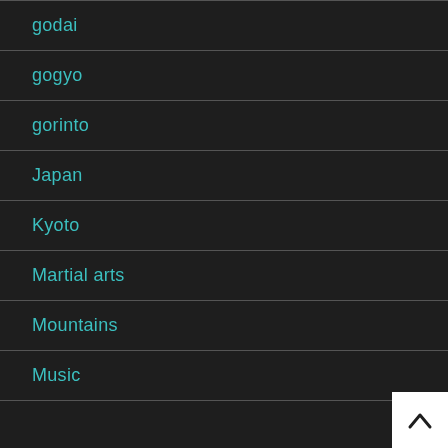godai
gogyo
gorinto
Japan
Kyoto
Martial arts
Mountains
Music